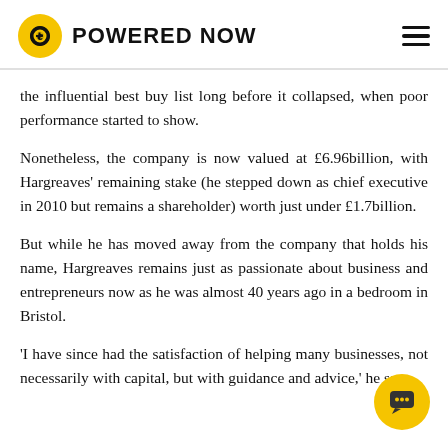POWERED NOW
the influential best buy list long before it collapsed, when poor performance started to show.
Nonetheless, the company is now valued at £6.96billion, with Hargreaves' remaining stake (he stepped down as chief executive in 2010 but remains a shareholder) worth just under £1.7billion.
But while he has moved away from the company that holds his name, Hargreaves remains just as passionate about business and entrepreneurs now as he was almost 40 years ago in a bedroom in Bristol.
'I have since had the satisfaction of helping many businesses, not necessarily with capital, but with guidance and advice,' he says.